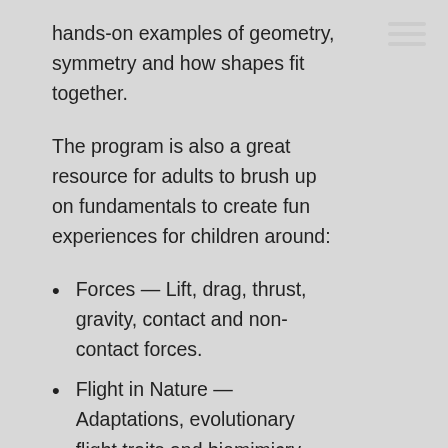hands-on examples of geometry, symmetry and how shapes fit together.
The program is also a great resource for adults to brush up on fundamentals to create fun experiences for children around:
Forces — Lift, drag, thrust, gravity, contact and non-contact forces.
Flight in Nature — Adaptations, evolutionary flight traits and biomimicry.
Experiments and observations